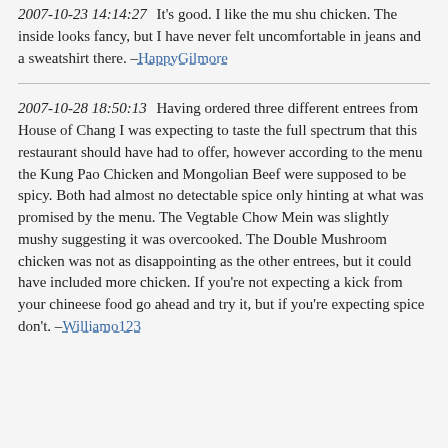2007-10-23 14:14:27  It's good. I like the mu shu chicken. The inside looks fancy, but I have never felt uncomfortable in jeans and a sweatshirt there. –HappyGilmore
2007-10-28 18:50:13  Having ordered three different entrees from House of Chang I was expecting to taste the full spectrum that this restaurant should have had to offer, however according to the menu the Kung Pao Chicken and Mongolian Beef were supposed to be spicy. Both had almost no detectable spice only hinting at what was promised by the menu. The Vegtable Chow Mein was slightly mushy suggesting it was overcooked. The Double Mushroom chicken was not as disappointing as the other entrees, but it could have included more chicken. If you're not expecting a kick from your chineese food go ahead and try it, but if you're expecting spice don't. –Williamo123